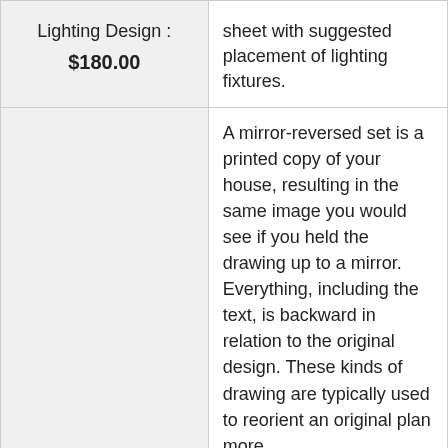| Lighting Design : $180.00 | sheet with suggested placement of lighting fixtures. |
|  | A mirror-reversed set is a printed copy of your house, resulting in the same image you would see if you held the drawing up to a mirror. Everything, including the text, is backward in relation to the original design. These kinds of drawing are typically used to reorient an original plan more. |